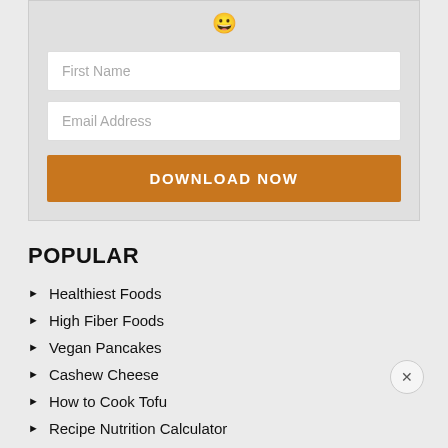[Figure (other): Form box with First Name input, Email Address input, and DOWNLOAD NOW button on a light gray background]
POPULAR
Healthiest Foods
High Fiber Foods
Vegan Pancakes
Cashew Cheese
How to Cook Tofu
Recipe Nutrition Calculator
Horchata
Healthy Snacks